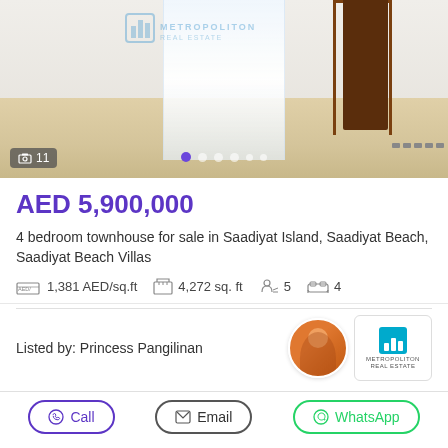[Figure (photo): Interior photo of an empty room with light wood flooring, white walls, sheer white curtains by a window, and a dark wood door on the right side. A watermark reading 'METROPOLITON REAL ESTATE' is visible. Photo count badge shows 11.]
AED 5,900,000
4 bedroom townhouse for sale in Saadiyat Island, Saadiyat Beach, Saadiyat Beach Villas
1,381 AED/sq.ft   4,272 sq. ft   5   4
Listed by: Princess Pangilinan
Call  Email  WhatsApp